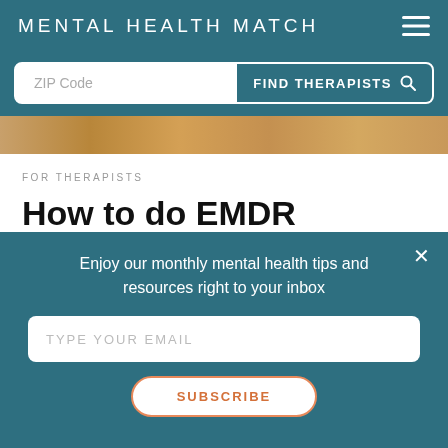MENTAL HEALTH MATCH
[Figure (screenshot): Search bar with ZIP Code input field and FIND THERAPISTS button]
[Figure (photo): Partial image strip at top of article, warm tan/brown tones]
FOR THERAPISTS
How to do EMDR Virtually
BY: DANA CARRETTA-STEIN   SEPTEMBER 11, 2020
Enjoy our monthly mental health tips and resources right to your inbox
TYPE YOUR EMAIL
SUBSCRIBE